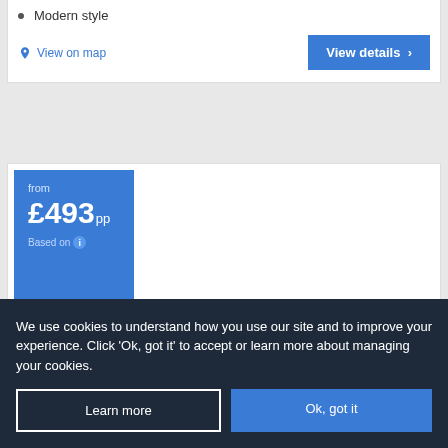Modern style
View on map
View details >
from £493pp Based on ℹ
We use cookies to understand how you use our site and to improve your experience. Click 'Ok, got it' to accept or learn more about managing your cookies.
Learn more
Ok, got it